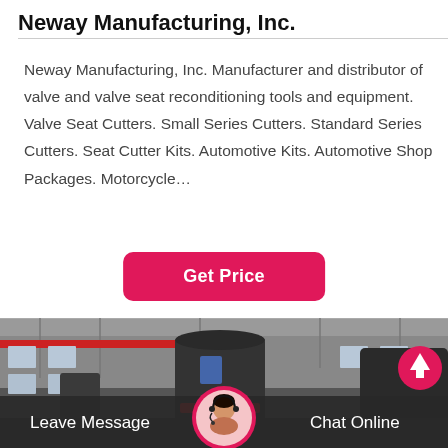Neway Manufacturing, Inc.
Neway Manufacturing, Inc. Manufacturer and distributor of valve and valve seat reconditioning tools and equipment. Valve Seat Cutters. Small Series Cutters. Standard Series Cutters. Seat Cutter Kits. Automotive Kits. Automotive Shop Packages. Motorcycle…
[Figure (other): Pink/red rounded rectangle button with white bold text reading 'Get Price']
[Figure (photo): Factory interior showing large industrial cylindrical equipment (likely grinding or valve machinery) in a warehouse with overhead cranes and windows. A customer service representative avatar is shown at the bottom center in a circular frame with a pink border.]
Leave Message
Chat Online